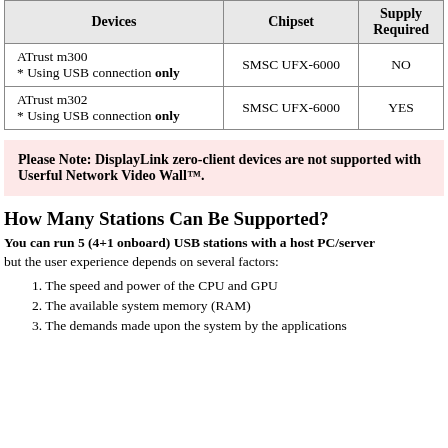| Devices | Chipset | Supply Required |
| --- | --- | --- |
| ATrust m300
* Using USB connection only | SMSC UFX-6000 | NO |
| ATrust m302
* Using USB connection only | SMSC UFX-6000 | YES |
Please Note: DisplayLink zero-client devices are not supported with Userful Network Video Wall™.
How Many Stations Can Be Supported?
You can run 5 (4+1 onboard) USB stations with a host PC/server but the user experience depends on several factors:
1. The speed and power of the CPU and GPU
2. The available system memory (RAM)
3. The demands made upon the system by the applications